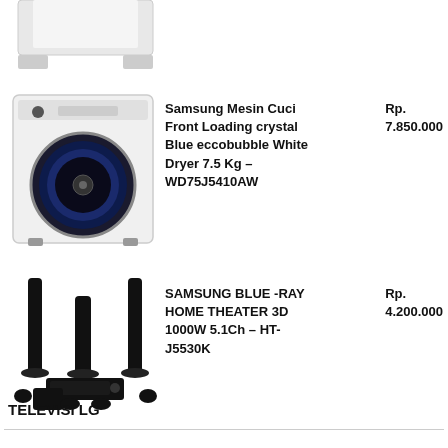[Figure (photo): Partial image of a white appliance (top portion cut off) at the top of the page]
[Figure (photo): Samsung front-loading washing machine, white with blue drum window]
Samsung Mesin Cuci Front Loading crystal Blue eccobubble White Dryer 7.5 Kg – WD75J5410AW    Rp. 7.850.000
[Figure (photo): Samsung Blue-Ray Home Theater 3D speaker system with tall tower speakers and subwoofer]
SAMSUNG BLUE -RAY HOME THEATER 3D 1000W 5.1Ch – HT-J5530K    Rp. 4.200.000
TELEVISI LG